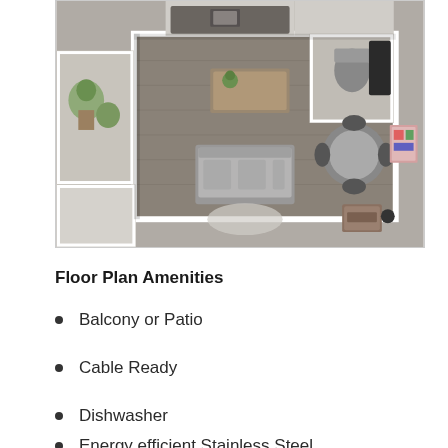[Figure (illustration): 3D rendered apartment floor plan viewed from above, showing living area with sofa, kitchen area with island, dining area with table and chairs, balcony with plants, and storage/closet areas. Rendered in grey and white tones with wood-effect flooring.]
Floor Plan Amenities
Balcony or Patio
Cable Ready
Dishwasher
Energy efficient Stainless Steel